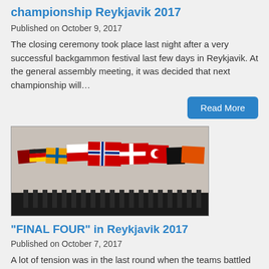championship Reykjavik 2017
Published on October 9, 2017
The closing ceremony took place last night after a very successful backgammon festival last few days in Reykjavik. At the general assembly meeting, it was decided that next championship will…
Read More
[Figure (photo): Multiple small national flags on stands displayed on a dark table surface]
“FINAL FOUR” in Reykjavik 2017
Published on October 7, 2017
A lot of tension was in the last round when the teams battled for the "Final four"  Germany, France, Norway and the defending champions